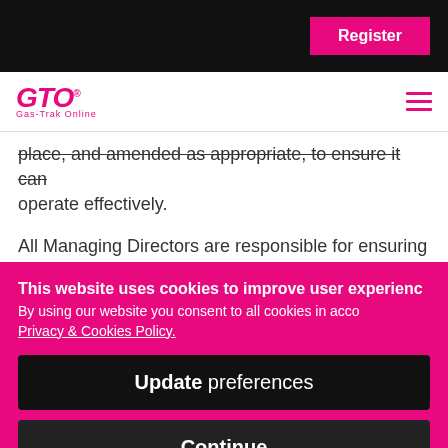Register
[Figure (logo): GTO Gas-Trak Online logo in pink/magenta with hamburger menu icon]
place, and amended as appropriate, to ensure it can operate effectively.
All Managing Directors are responsible for ensuring
This website uses cookies to improve user experience. By using our website you consent to all cookies in accordance with our Privacy & Cookies Policy.
Update preferences
Continue